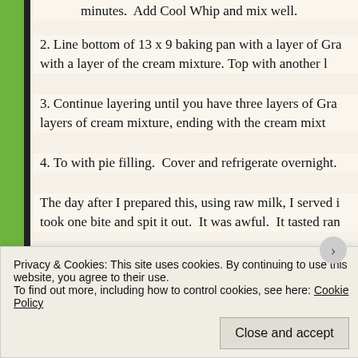minutes.  Add Cool Whip and mix well.
2. Line bottom of 13 x 9 baking pan with a layer of Gra with a layer of the cream mixture. Top with another l
3. Continue layering until you have three layers of Gra layers of cream mixture, ending with the cream mixt
4. To with pie filling.  Cover and refrigerate overnight.
The day after I prepared this, using raw milk, I served i took one bite and spit it out.  It was awful.  It tasted ran
Hubby and the kids agreed it didn't taste right.  I threw
At the time I thought that the Cool Whip I had used mig been in the freezer since Christmas and perhaps it was up on enjoying this favorite dessert, I headed out to the
Privacy & Cookies: This site uses cookies. By continuing to use this website, you agree to their use. To find out more, including how to control cookies, see here: Cookie Policy
Close and accept